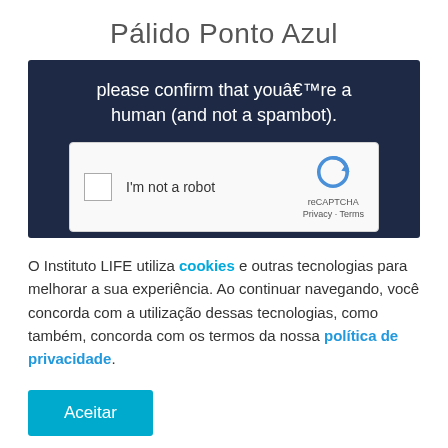Pálido Ponto Azul
[Figure (screenshot): CAPTCHA verification screenshot showing dark blue background with text 'please confirm that youâ€™re a human (and not a spambot).' and a reCAPTCHA checkbox widget with 'I'm not a robot' label and reCAPTCHA logo.]
O Instituto LIFE utiliza cookies e outras tecnologias para melhorar a sua experiência. Ao continuar navegando, você concorda com a utilização dessas tecnologias, como também, concorda com os termos da nossa política de privacidade.
Aceitar